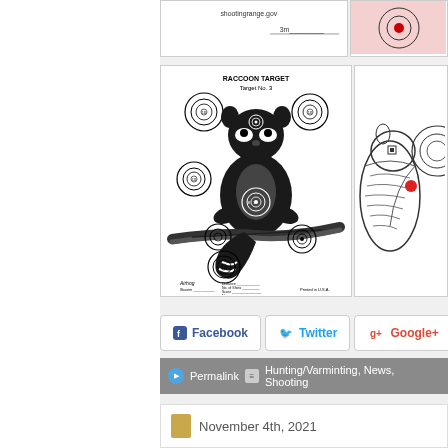[Figure (illustration): Raccoon shooting target labeled 'RACCOON TARGET Target No. 3' with bullseye circles placed at head, chest, and limb positions on a black silhouette raccoon on a branch. Small form fields at bottom with Printed in U.S.A.]
[Figure (illustration): Partial squirrel shooting target with bullseye circles and a red dot, showing only left portion of image]
Facebook
Twitter
Google+
Permalink  Hunting/Varminting, News, Shooting
November 4th, 2021